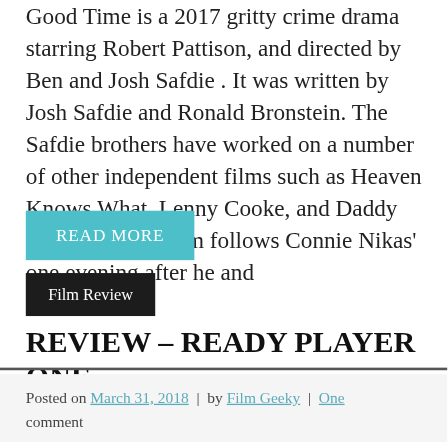Good Time is a 2017 gritty crime drama starring Robert Pattison, and directed by Ben and Josh Safdie . It was written by Josh Safdie and Ronald Bronstein. The Safdie brothers have worked on a number of other independent films such as Heaven Knows What, Lenny Cooke, and Daddy Longlegs. The film follows Connie Nikas' one evening after he and
READ MORE
Film Review
REVIEW – READY PLAYER ONE
Posted on March 31, 2018 | by Film Geeky | One comment